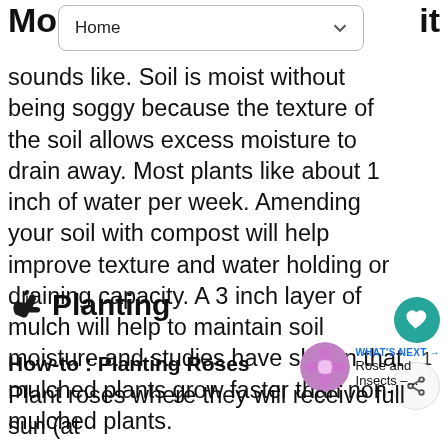Mo... it
sounds like. Soil is moist without being soggy because the texture of the soil allows excess moisture to drain away. Most plants like about 1 inch of water per week. Amending your soil with compost will help improve texture and water holding or draining capacity. A 3 inch layer of mulch will help to maintain soil moisture and studies have shown that mulched plants grow faster than non-mulched plants.
🌱 Planting
How-to : Planting Roses
Plant roses where they will receive full sun (at